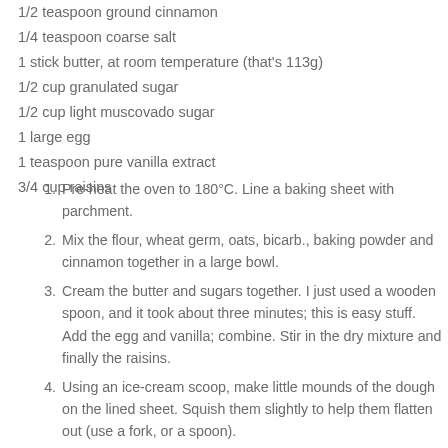1/2 teaspoon ground cinnamon
1/4 teaspoon coarse salt
1 stick butter, at room temperature (that's 113g)
1/2 cup granulated sugar
1/2 cup light muscovado sugar
1 large egg
1 teaspoon pure vanilla extract
3/4 cup raisins
1. Pre-heat the oven to 180°C. Line a baking sheet with parchment.
2. Mix the flour, wheat germ, oats, bicarb., baking powder and cinnamon together in a large bowl.
3. Cream the butter and sugars together. I just used a wooden spoon, and it took about three minutes; this is easy stuff. Add the egg and vanilla; combine. Stir in the dry mixture and finally the raisins.
4. Using an ice-cream scoop, make little mounds of the dough on the lined sheet. Squish them slightly to help them flatten out (use a fork, or a spoon).
5. Bake for about 12 minutes until golden brown. Cool on